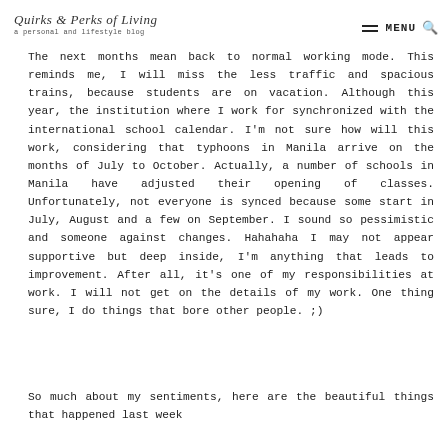a personal and lifestyle blog | MENU
The next months mean back to normal working mode. This reminds me, I will miss the less traffic and spacious trains, because students are on vacation. Although this year, the institution where I work for synchronized with the international school calendar. I'm not sure how will this work, considering that typhoons in Manila arrive on the months of July to October. Actually, a number of schools in Manila have adjusted their opening of classes. Unfortunately, not everyone is synced because some start in July, August and a few on September. I sound so pessimistic and someone against changes. Hahahaha I may not appear supportive but deep inside, I'm anything that leads to improvement. After all, it's one of my responsibilities at work. I will not get on the details of my work. One thing sure, I do things that bore other people. ;)
So much about my sentiments, here are the beautiful things that happened last week